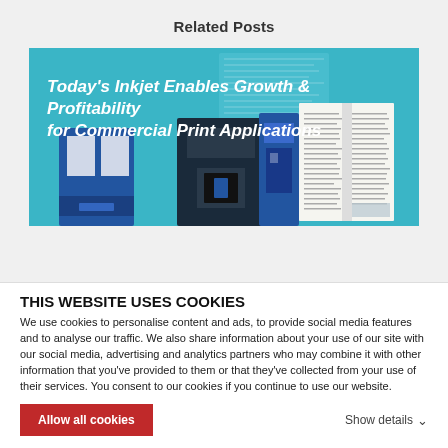Related Posts
[Figure (photo): Banner image showing inkjet printing machines and an open book with teal background and text overlay: Today's Inkjet Enables Growth & Profitability for Commercial Print Applications]
THIS WEBSITE USES COOKIES
We use cookies to personalise content and ads, to provide social media features and to analyse our traffic. We also share information about your use of our site with our social media, advertising and analytics partners who may combine it with other information that you've provided to them or that they've collected from your use of their services. You consent to our cookies if you continue to use our website.
Allow all cookies
Show details